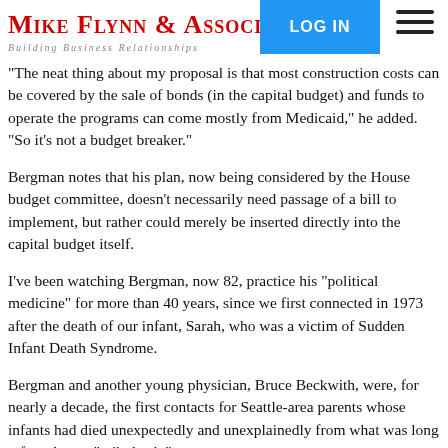Mike Flynn & Associates — Building Business Relationships — LOG IN
"The neat thing about my proposal is that most construction costs can be covered by the sale of bonds (in the capital budget) and funds to operate the programs can come mostly from Medicaid," he added. "So it's not a budget breaker."
Bergman notes that his plan, now being considered by the House budget committee, doesn't necessarily need passage of a bill to implement, but rather could merely be inserted directly into the capital budget itself.
I've been watching Bergman, now 82, practice his "political medicine" for more than 40 years, since we first connected in 1973 after the death of our infant, Sarah, who was a victim of Sudden Infant Death Syndrome.
Bergman and another young physician, Bruce Beckwith, were, for nearly a decade, the first contacts for Seattle-area parents whose infants had died unexpectedly and unexplainedly from what was long referred to as "crib death."
It was on behalf of those lost infants and their grieving